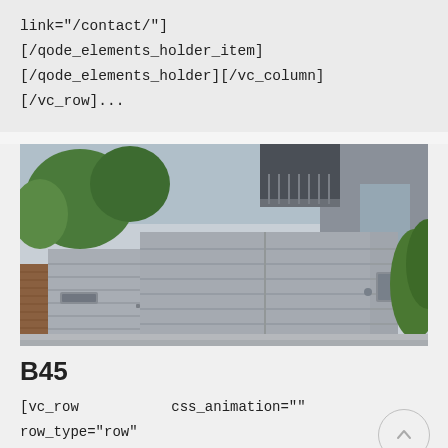link="/contact/"]
[/qode_elements_holder_item]
[/qode_elements_holder][/vc_column]
[/vc_row]...
[Figure (photo): Photo of a modern grey gate/fence system in front of a contemporary building with trees and hedges]
B45
[vc_row css_animation=""
row_type="row"
use_row_as_full_screen_section="no"